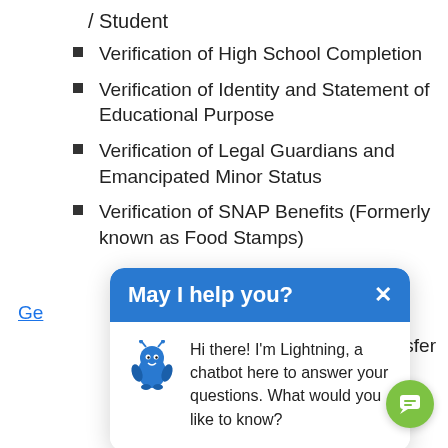/ Student
Verification of High School Completion
Verification of Identity and Statement of Educational Purpose
Verification of Legal Guardians and Emancipated Minor Status
Verification of SNAP Benefits (Formerly known as Food Stamps)
Ge[t...]
[tran]sfer
[Figure (screenshot): Chat widget popup with blue header saying 'May I help you?' with a close X button, and a chatbot avatar (blue creature mascot named Lightning) with message: 'Hi there! I'm Lightning, a chatbot here to answer your questions. What would you like to know?']
Timeframe Form